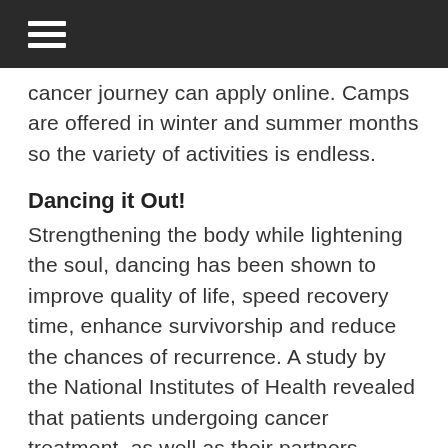cancer journey can apply online. Camps are offered in winter and summer months so the variety of activities is endless.
Dancing it Out!
Strengthening the body while lightening the soul, dancing has been shown to improve quality of life, speed recovery time, enhance survivorship and reduce the chances of recurrence. A study by the National Institutes of Health revealed that patients undergoing cancer treatment, as well as their partners, benefited from ballroom dancing. In addition, their recovery indication of...